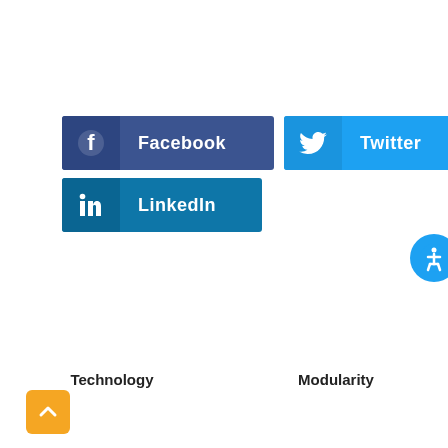[Figure (screenshot): Social share buttons: Facebook (dark blue), Twitter (light blue), LinkedIn (teal blue), each with icon on left and label text on right]
[Figure (other): Blue circular accessibility icon with person symbol, partially cropped on right edge]
Technology
Modularity
[Figure (other): Orange rounded square scroll-to-top button with white upward chevron arrow]